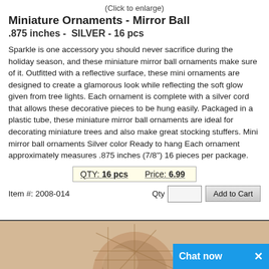(Click to enlarge)
Miniature Ornaments - Mirror Ball
.875 inches -  SILVER - 16 pcs
Sparkle is one accessory you should never sacrifice during the holiday season, and these miniature mirror ball ornaments make sure of it. Outfitted with a reflective surface, these mini ornaments are designed to create a glamorous look while reflecting the soft glow given from tree lights. Each ornament is complete with a silver cord that allows these decorative pieces to be hung easily. Packaged in a plastic tube, these miniature mirror ball ornaments are ideal for decorating miniature trees and also make great stocking stuffers. Mini mirror ball ornaments Silver color Ready to hang Each ornament approximately measures .875 inches (7/8") 16 pieces per package.
QTY: 16 pcs     Price: 6.99
Item #: 2008-014    Qty [   ]  Add to Cart
[Figure (photo): Partial image of a mirror ball ornament visible at the bottom of the page]